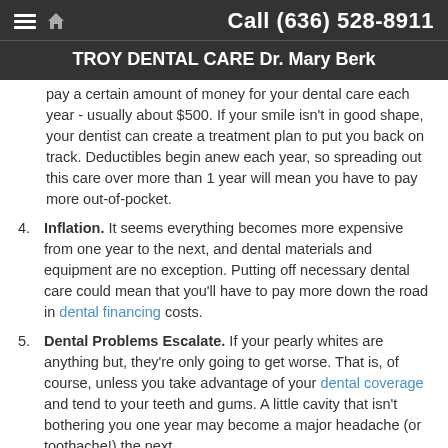Call (636) 528-8911
TROY DENTAL CARE Dr. Mary Berk
pay a certain amount of money for your dental care each year - usually about $500. If your smile isn't in good shape, your dentist can create a treatment plan to put you back on track. Deductibles begin anew each year, so spreading out this care over more than 1 year will mean you have to pay more out-of-pocket.
4. Inflation. It seems everything becomes more expensive from one year to the next, and dental materials and equipment are no exception. Putting off necessary dental care could mean that you'll have to pay more down the road in dental financing costs.
5. Dental Problems Escalate. If your pearly whites are anything but, they're only going to get worse. That is, of course, unless you take advantage of your dental coverage and tend to your teeth and gums. A little cavity that isn't bothering you one year may become a major headache (or toothache!) the next.